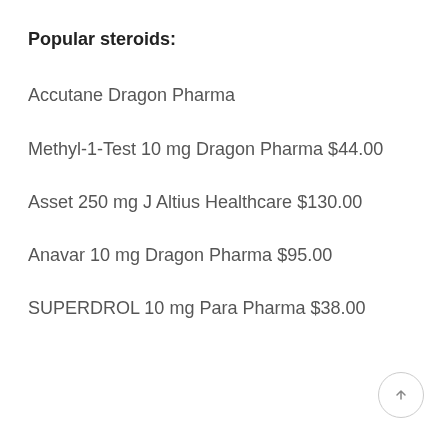Popular steroids:
Accutane Dragon Pharma
Methyl-1-Test 10 mg Dragon Pharma $44.00
Asset 250 mg J Altius Healthcare $130.00
Anavar 10 mg Dragon Pharma $95.00
SUPERDROL 10 mg Para Pharma $38.00